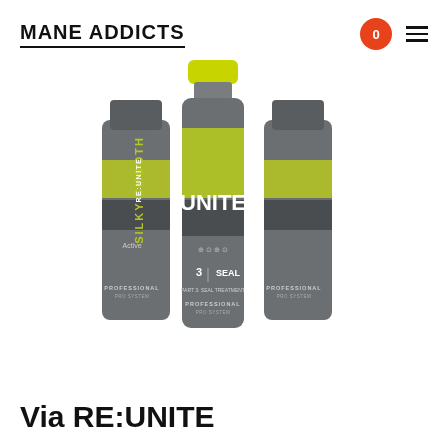MANE ADDICTS
[Figure (photo): Three UNITE RE:UNITE SILKY-SMOOTH system product bottles in gray with yellow-green cap and label, arranged in a group. The bottles are numbered and labeled as part of a professional hair system.]
Via RE:UNITE